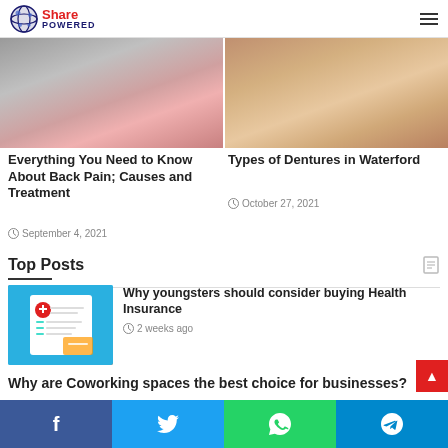Share Powered
[Figure (photo): Two article thumbnail photos side by side: left shows a person with back pain (red highlight on lower back), right shows a person's skin/face close-up for a dentures article.]
Everything You Need to Know About Back Pain; Causes and Treatment
September 4, 2021
Types of Dentures in Waterford
October 27, 2021
Top Posts
[Figure (illustration): Health Insurance illustration showing a form with a red cross/plus sign and a hand writing on it with a pen, teal/blue background]
Why youngsters should consider buying Health Insurance
2 weeks ago
Why are Coworking spaces the best choice for businesses?